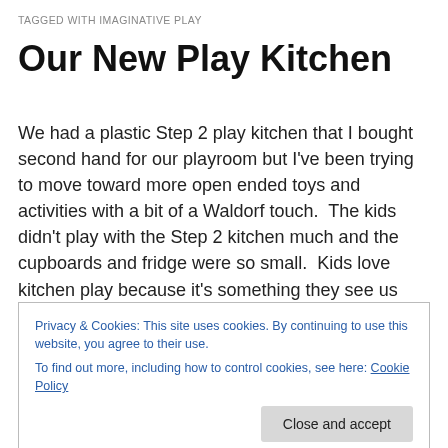TAGGED WITH IMAGINATIVE PLAY
Our New Play Kitchen
We had a plastic Step 2 play kitchen that I bought second hand for our playroom but I've been trying to move toward more open ended toys and activities with a bit of a Waldorf touch.  The kids didn't play with the Step 2 kitchen much and the cupboards and fridge were so small.  Kids love kitchen play because it's something they see us grownups do every day.  It is important to get your children helping
Privacy & Cookies: This site uses cookies. By continuing to use this website, you agree to their use.
To find out more, including how to control cookies, see here: Cookie Policy
[Close and accept]
kitchen